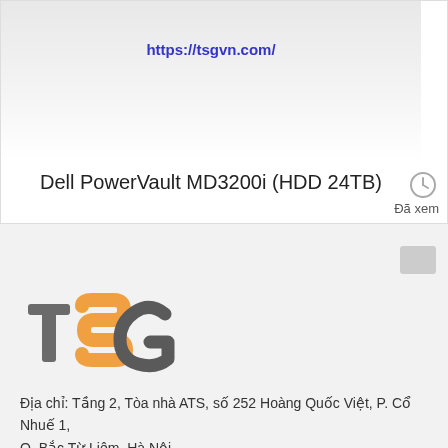[Figure (screenshot): Product image area showing a hardware device with URL https://tsgvn.com/ visible on it, against a gray gradient background]
Dell PowerVault MD3200i (HDD 24TB)
Đã xem
[Figure (logo): TSG company logo with stylized T, S, G letters in orange and gray colors]
Địa chỉ: Tầng 2, Tòa nhà ATS, số 252 Hoàng Quốc Việt, P. Cổ Nhuế 1, Q. Bắc Từ Liêm, Hà Nội